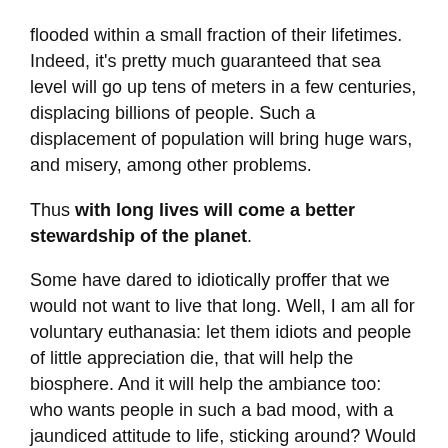flooded within a small fraction of their lifetimes. Indeed, it's pretty much guaranteed that sea level will go up tens of meters in a few centuries, displacing billions of people. Such a displacement of population will bring huge wars, and misery, among other problems.
Thus with long lives will come a better stewardship of the planet.
Some have dared to idiotically proffer that we would not want to live that long. Well, I am all for voluntary euthanasia: let them idiots and people of little appreciation die, that will help the biosphere. And it will help the ambiance too: who wants people in such a bad mood, with a jaundiced attitude to life, sticking around? Would not they start wars, just to get out of their colossal ennui?